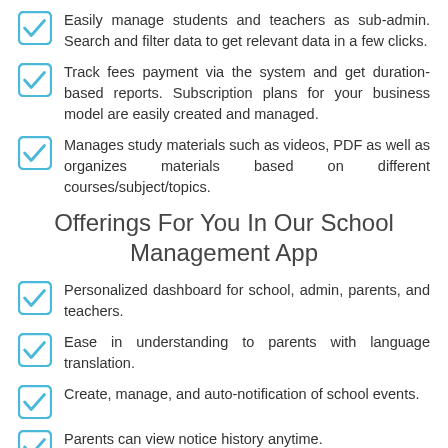Easily manage students and teachers as sub-admin. Search and filter data to get relevant data in a few clicks.
Track fees payment via the system and get duration-based reports. Subscription plans for your business model are easily created and managed.
Manages study materials such as videos, PDF as well as organizes materials based on different courses/subject/topics.
Offerings For You In Our School Management App
Personalized dashboard for school, admin, parents, and teachers.
Ease in understanding to parents with language translation.
Create, manage, and auto-notification of school events.
Parents can view notice history anytime.
Unlimited push notifications to keep everyone updated.